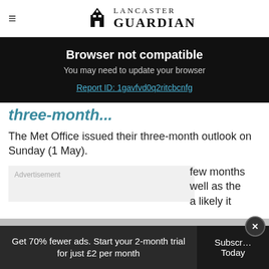Lancaster Guardian
Browser not compatible
You may need to update your browser
Report ID: 1gavfvd0q2ritcbcnfg
three-month...
The Met Office issued their three-month outlook on Sunday (1 May).
Advertisement
few months
well as the
a likely it
Get 70% fewer ads. Start your 2-month trial for just £2 per month
Subscribe Today